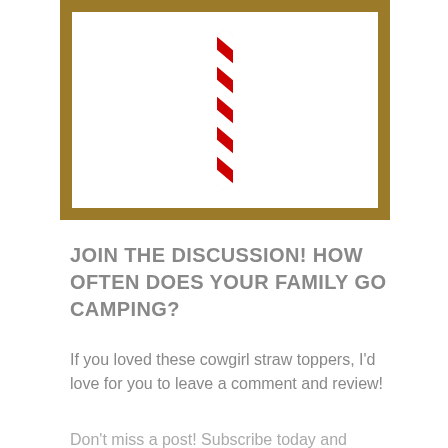[Figure (photo): A red and white striped candy cane or straw topper centered inside a gold/brown bordered white frame]
JOIN THE DISCUSSION! HOW OFTEN DOES YOUR FAMILY GO CAMPING?
If you loved these cowgirl straw toppers, I'd love for you to leave a comment and review!
Don't miss a post! Subscribe today and receive